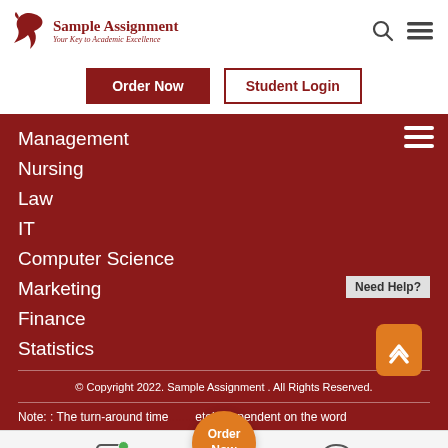[Figure (logo): Sample Assignment logo with bird icon and tagline 'Your Key to Academic Excellence']
Order Now
Student Login
Management
Nursing
Law
IT
Computer Science
Marketing
Finance
Statistics
© Copyright 2022. Sample Assignment . All Rights Reserved.
Note: : The turn-around time... etely dependent on the word